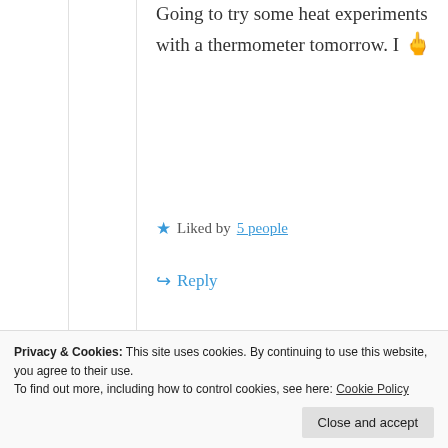Going to try some heat experiments with a thermometer tomorrow. I 🖕
★ Liked by 5 people
↪ Reply
[Figure (photo): Circular avatar photo of a person, partially visible at bottom of nested comment box]
ph
ng
Privacy & Cookies: This site uses cookies. By continuing to use this website, you agree to their use. To find out more, including how to control cookies, see here: Cookie Policy